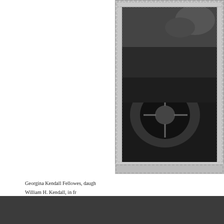[Figure (photo): Black and white photograph of what appears to be a vintage automobile, framed with a decorative Greek key border pattern. The photo is partially visible, showing the wheel and side of the car with foliage in the background.]
Georgina Kendall Fellowes, daugh... William H. Kendall, in fr... Courtesy, Kendall F... The University of Texas at Ar...
Thanks to Lea M. Worcester and Cathy Spitzenberger at The University ... images of Post Oak Springs Ranch and Georgina Kendall Fellowes with ... from the “Comfort News”; and to Sally Tanselle for finding the set of Li...